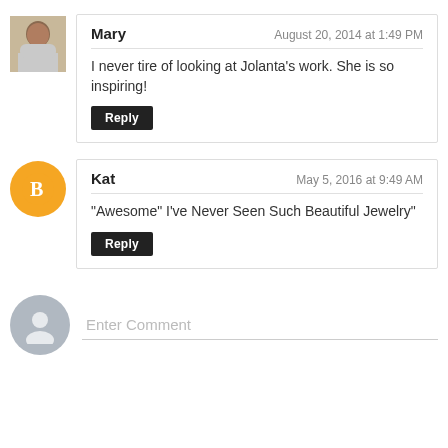Mary — August 20, 2014 at 1:49 PM
I never tire of looking at Jolanta's work. She is so inspiring!
[Reply]
Kat — May 5, 2016 at 9:49 AM
"Awesome" I've Never Seen Such Beautiful Jewelry"
[Reply]
Enter Comment